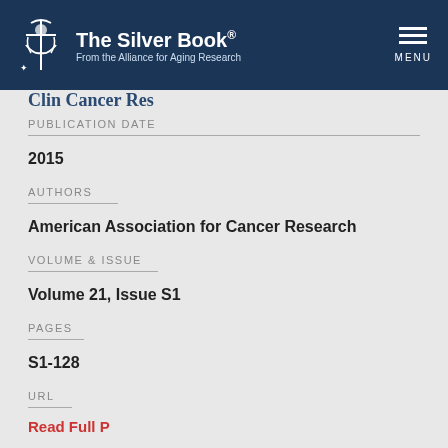The Silver Book® From the Alliance for Aging Research MENU
Clin Cancer Res
PUBLICATION DATE
2015
AUTHORS
American Association for Cancer Research
VOLUME & ISSUE
Volume 21, Issue S1
PAGES
S1-128
URL
Read Full P...